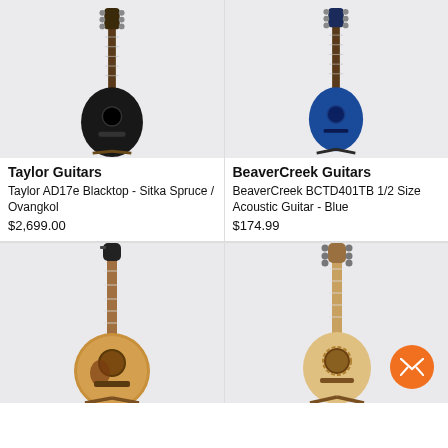[Figure (photo): Black acoustic guitar (Taylor AD17e Blacktop) on a stand against a light gray background]
Taylor Guitars
Taylor AD17e Blacktop - Sitka Spruce / Ovangkol
$2,699.00
[Figure (photo): Blue 1/2 size acoustic guitar (BeaverCreek BCTD401TB) on a stand against a light gray background]
BeaverCreek Guitars
BeaverCreek BCTD401TB 1/2 Size Acoustic Guitar - Blue
$174.99
[Figure (photo): Natural finish dreadnought acoustic guitar on a stand against a light gray background]
[Figure (photo): Natural finish parlor/classical acoustic guitar on a stand against a light gray background, with orange email/chat button overlay in the bottom right]